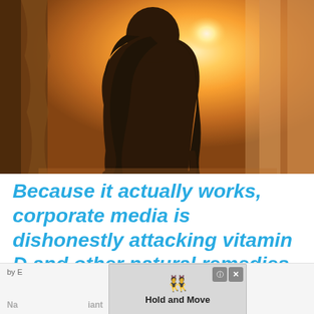[Figure (photo): Silhouette of a woman with long hair seen from behind, opening curtains with bright warm sunlight streaming through a window]
Because it actually works, corporate media is dishonestly attacking vitamin D and other natural remedies
by E... Na... ...iant
[Figure (other): Advertisement overlay showing cartoon figures icon and text 'Hold and Move' with close buttons (? and X)]